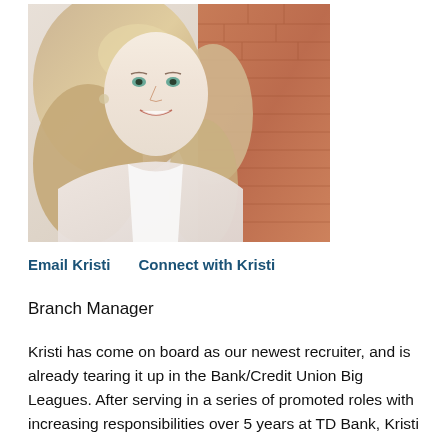[Figure (photo): Professional headshot of a blonde woman smiling, wearing a light pink blazer, photographed against a brick wall background.]
Email Kristi    Connect with Kristi
Branch Manager
Kristi has come on board as our newest recruiter, and is already tearing it up in the Bank/Credit Union Big Leagues. After serving in a series of promoted roles with increasing responsibilities over 5 years at TD Bank, Kristi